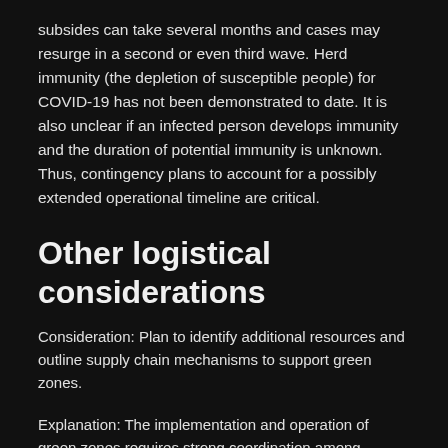subsides can take several months and cases may resurge in a second or even third wave. Herd immunity (the depletion of susceptible people) for COVID-19 has not been demonstrated to date. It is also unclear if an infected person develops immunity and the duration of potential immunity is unknown. Thus, contingency plans to account for a possibly extended operational timeline are critical.
Other logistical considerations
Consideration: Plan to identify additional resources and outline supply chain mechanisms to support green zones.
Explanation: The implementation and operation of green zones requires strong coordination among several sectors which may require substantial additional resources: